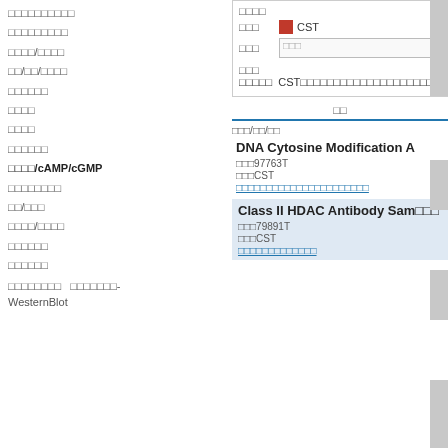□□□□□□□□□□
□□□□□□□□□
□□□□/□□□□
□□/□□/□□□□
□□□□□□
□□□□
□□□□
□□□□□□
□□□□/cAMP/cGMP
□□□□□□□□
□□/□□□
□□□□/□□□□
□□□□□□
□□□□□□
□□□□□□□□ □□□□□□□-WesternBlot
| □□□ | □□□ | □□□ |
| --- | --- | --- |
| □□□ | [red-box] CST |  |
| □□□ | □□□ |  |
| □□□ | □□□□□ CST□□□□□□□□□□□□□□□□□□□□□□□ |  |
□□
□□□/□□/□□
DNA Cytosine Modification A
□□□97763T
□□□CST
□□□□□□□□□□□□□□□□□□□□□□
Class II HDAC Antibody Sam□□□
□□□79891T
□□□CST
□□□□□□□□□□□□□